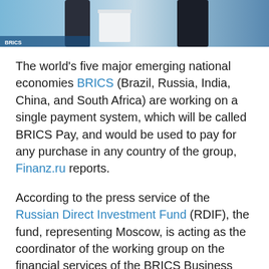[Figure (photo): Photo of two people in suits at a BRICS-related event with blue backdrop, partially cropped at top]
The world's five major emerging national economies BRICS (Brazil, Russia, India, China, and South Africa) are working on a single payment system, which will be called BRICS Pay, and would be used to pay for any purchase in any country of the group, Finanz.ru reports.
According to the press service of the Russian Direct Investment Fund (RDIF), the fund, representing Moscow, is acting as the coordinator of the working group on the financial services of the BRICS Business Council.